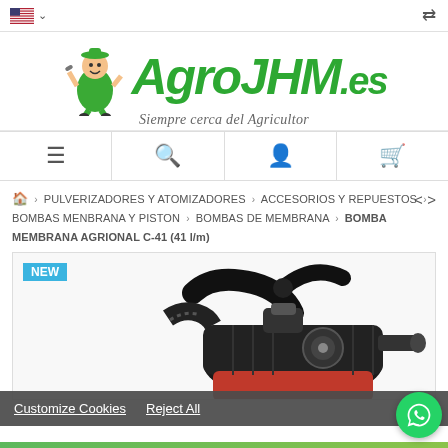AgroJHM.es — Siempre cerca del Agricultor
[Figure (logo): AgroJHM.es logo with mascot farmer character holding tools, green italic text 'Agro JHM.es', tagline 'Siempre cerca del Agricultor']
[Figure (infographic): Navigation bar with menu (hamburger), search (magnifier), account (person), cart icons]
🏠 > PULVERIZADORES Y ATOMIZADORES > ACCESORIOS Y REPUESTOS > BOMBAS MENBRANA Y PISTON > BOMBAS DE MEMBRANA > BOMBA MEMBRANA AGRIONAL C-41 (41 l/m)
[Figure (photo): Product photo of BOMBA MEMBRANA AGRIONAL C-41 pump, black membrane pump on red base, with a 'NEW' badge in the top left corner]
Customize Cookies   Reject All